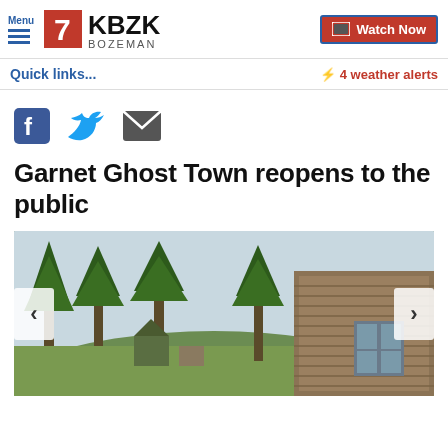Menu | 7 KBZK BOZEMAN | Watch Now
Quick links...
⚡ 4 weather alerts
[Figure (logo): Social share icons: Facebook, Twitter, Email]
Garnet Ghost Town reopens to the public
[Figure (photo): Outdoor scene of Garnet Ghost Town: old wooden buildings and tall evergreen pine trees on a hillside, overcast sky. Navigation arrows on left and right sides.]